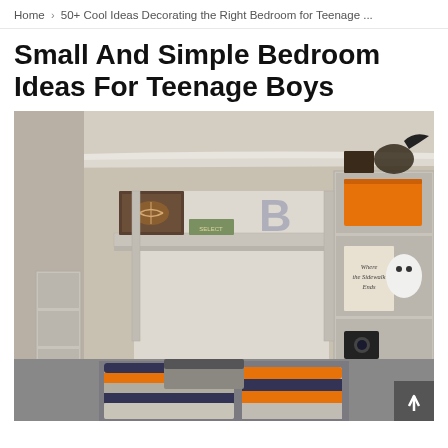Home > 50+ Cool Ideas Decorating the Right Bedroom for Teenage ...
Small And Simple Bedroom Ideas For Teenage Boys
[Figure (photo): A teenage boy's bedroom with gray built-in shelving units on each side of a Murphy bed or wall bed system. The shelves hold various items including an orange storage box, a letter 'B' decoration, a football-themed wall art, a stuffed animal, and colored pillows in orange, gray, and navy stripes on the bed.]